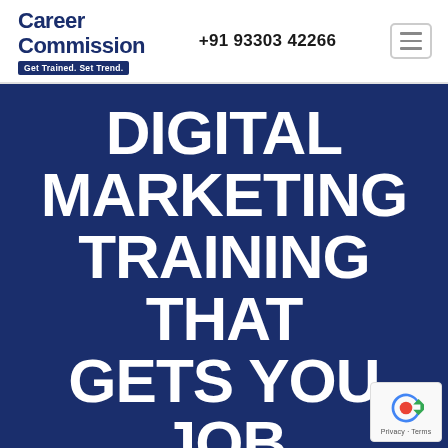[Figure (logo): Career Commission logo with tagline 'Get Trained. Set Trend.']
+91 93303 42266
DIGITAL MARKETING TRAINING THAT GETS YOU JOB
Online & In-Person
✓ Live Projects
✓ Internship with Stipend